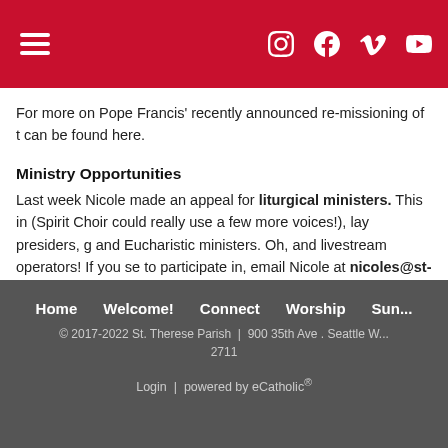Navigation header with hamburger menu and social icons (Instagram, Facebook, Vimeo, YouTube)
For more on Pope Francis' recently announced re-missioning of t can be found here.
Ministry Opportunities
Last week Nicole made an appeal for liturgical ministers. This in (Spirit Choir could really use a few more voices!), lay presiders, g and Eucharistic ministers. Oh, and livestream operators! If you se to participate in, email Nicole at nicoles@st-therese.cc
Home   Welcome!   Connect   Worship   Sun... © 2017-2022 St. Therese Parish | 900 35th Ave . Seattle ... 2711   Login | powered by eCatholic®